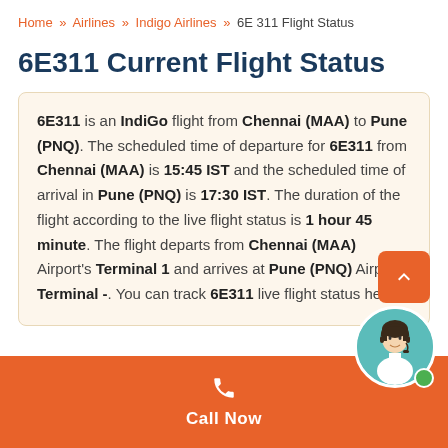Home » Airlines » Indigo Airlines » 6E 311 Flight Status
6E311 Current Flight Status
6E311 is an IndiGo flight from Chennai (MAA) to Pune (PNQ). The scheduled time of departure for 6E311 from Chennai (MAA) is **15:45 IST** and the scheduled time of arrival in Pune (PNQ) is **17:30 IST**. The duration of the flight according to the live flight status is **1 hour 45 minute**. The flight departs from Chennai (MAA) Airport's Terminal 1 and arrives at Pune (PNQ) Airport's Terminal -. You can track 6E311 live flight status here.